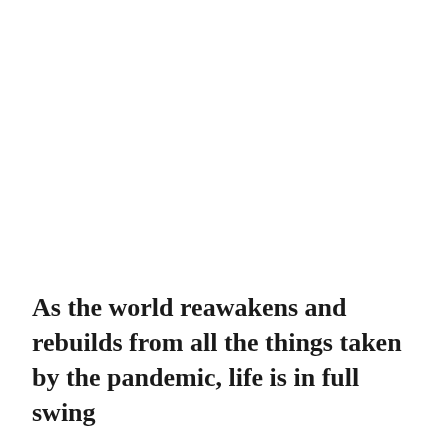As the world reawakens and rebuilds from all the things taken by the pandemic, life is in full swing